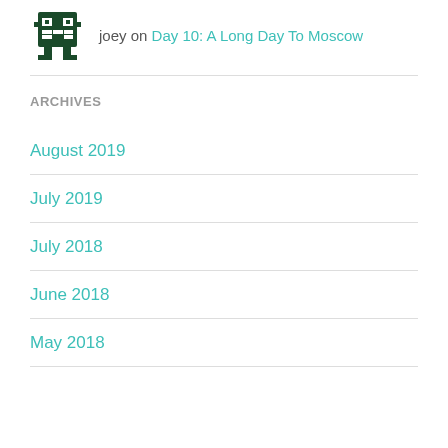[Figure (logo): Dark green pixelated robot/face avatar icon]
joey on Day 10: A Long Day To Moscow
ARCHIVES
August 2019
July 2019
July 2018
June 2018
May 2018